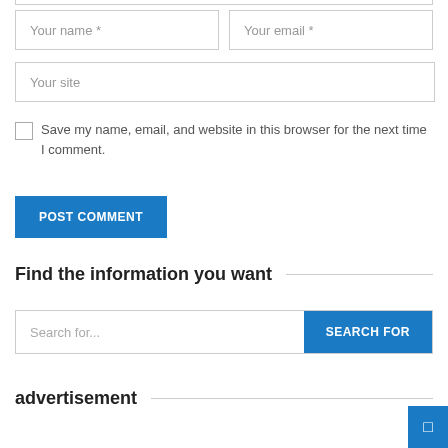[Figure (screenshot): Form fields for comment submission: Your name *, Your email *, Your site]
Save my name, email, and website in this browser for the next time I comment.
POST COMMENT
Find the information you want
Search for...
SEARCH FOR
advertisement